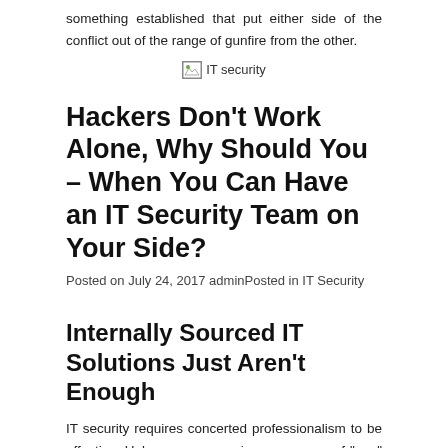something established that put either side of the conflict out of the range of gunfire from the other.
[Figure (photo): Broken image placeholder labeled 'IT security']
Hackers Don’t Work Alone, Why Should You – When You Can Have an IT Security Team on Your Side?
Posted on July 24, 2017 adminPosted in IT Security
Internally Sourced IT Solutions Just Aren’t Enough
IT security requires concerted professionalism to be effective. Unless your name is an anagram of “one” like Neo from The Matrix, you’re not going to be able to protect yourself against a concerted attack.